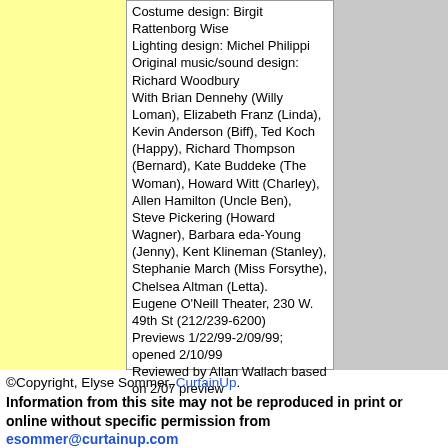Costume design: Birgit Rattenborg Wise
Lighting design: Michel Philippi
Original music/sound design: Richard Woodbury
With Brian Dennehy (Willy Loman), Elizabeth Franz (Linda), Kevin Anderson (Biff), Ted Koch (Happy), Richard Thompson (Bernard), Kate Buddeke (The Woman), Howard Witt (Charley), Allen Hamilton (Uncle Ben), Steve Pickering (Howard Wagner), Barbara eda-Young (Jenny), Kent Klineman (Stanley), Stephanie March (Miss Forsythe), Chelsea Altman (Letta).
Eugene O'Neill Theater, 230 W. 49th St (212/239-6200)
Previews 1/22/99-2/09/99; opened 2/10/99
Reviewed by Allan Wallach based on 2/07 preview
©Copyright, Elyse Sommer, CurtainUp.
Information from this site may not be reproduced in print or online without specific permission from esommer@curtainup.com